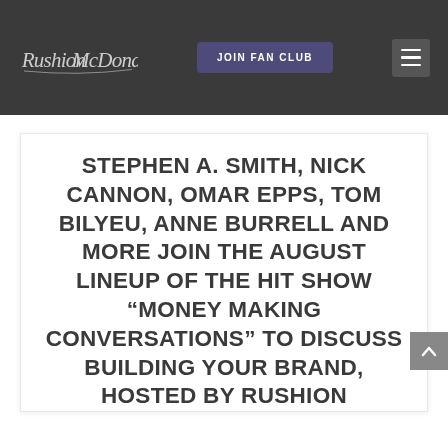Rushion McDonald — JOIN FAN CLUB
STEPHEN A. SMITH, NICK CANNON, OMAR EPPS, TOM BILYEU, ANNE BURRELL AND MORE JOIN THE AUGUST LINEUP OF THE HIT SHOW "MONEY MAKING CONVERSATIONS" TO DISCUSS BUILDING YOUR BRAND, HOSTED BY RUSHION